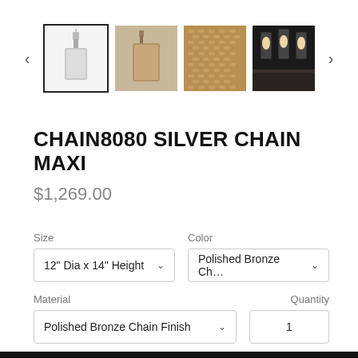[Figure (screenshot): Product image carousel with 4 thumbnail images of a pendant lamp (Chain8080 Silver Chain Maxi), with left and right navigation arrows. First thumbnail is selected with a border.]
CHAIN8080 SILVER CHAIN MAXI
$1,269.00
Size
12" Dia x 14" Height
Color
Polished Bronze Ch...
Material
Polished Bronze Chain Finish
Quantity
1